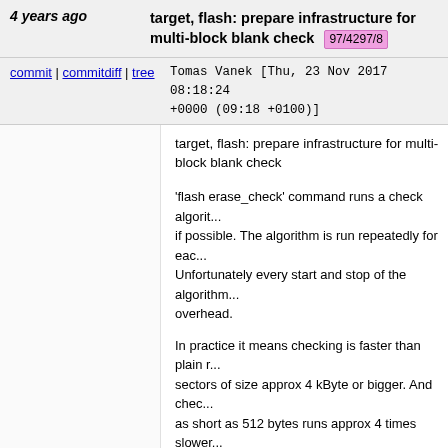4 years ago   target, flash: prepare infrastructure for multi-block blank check  97/4297/8
commit | commitdiff | tree   Tomas Vanek [Thu, 23 Nov 2017 08:18:24 +0000 (09:18 +0100)]
target, flash: prepare infrastructure for multi-block blank check

'flash erase_check' command runs a check algorithm if possible. The algorithm is run repeatedly for each... Unfortunately every start and stop of the algorithm... overhead.
In practice it means checking is faster than plain r... sectors of size approx 4 kByte or bigger. And chec... as short as 512 bytes runs approx 4 times slower...

The patch changes API call target_blank_check_m... to take an array of sectors (or arbitrary memory bl...

Changes in target-
specific checking routines are kept minimal.
They use only the first block from the array and pr... the unchanged algorithm.

default_flash_blank_check() routine repeats targe... until all blocks are checked, so it works with both m... block
and single-block based checkers.